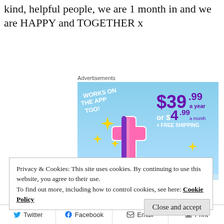kind, helpful people, we are 1 month in and we are HAPPY and TOGETHER x
Advertisements
[Figure (infographic): Tumblr Ad Free promotional banner showing '$39.99 a year or $4.99 a month + FREE SHIPPING' with 'WORKS ON THE APP TOO!' text and Tumblr 't' logo on blue sky background]
Privacy & Cookies: This site uses cookies. By continuing to use this website, you agree to their use.
To find out more, including how to control cookies, see here: Cookie Policy
Close and accept
Twitter   Facebook   Email   Print